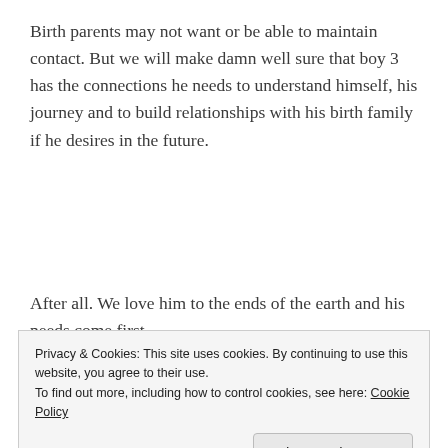Birth parents may not want or be able to maintain contact. But we will make damn well sure that boy 3 has the connections he needs to understand himself, his journey and to build relationships with his birth family if he desires in the future.
After all. We love him to the ends of the earth and his needs come first.
[Figure (photo): Partial view of a photo with a blue/grey background, appearing behind a cookie consent banner]
Privacy & Cookies: This site uses cookies. By continuing to use this website, you agree to their use.
To find out more, including how to control cookies, see here: Cookie Policy
Close and accept